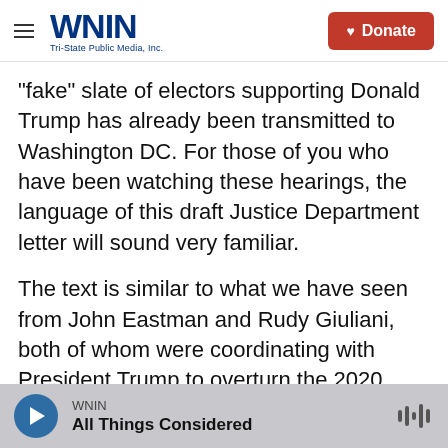WNIN Tri-State Public Media, Inc. | Donate
"fake" slate of electors supporting Donald Trump has already been transmitted to Washington DC. For those of you who have been watching these hearings, the language of this draft Justice Department letter will sound very familiar.
The text is similar to what we have seen from John Eastman and Rudy Giuliani, both of whom were coordinating with President Trump to overturn the 2020 election. When one of our witnesses today, Mr. Donoghue, first saw this draft letter, he wrote this. "This would be a grave step for the department to take, and it could have tremendous
WNIN | All Things Considered